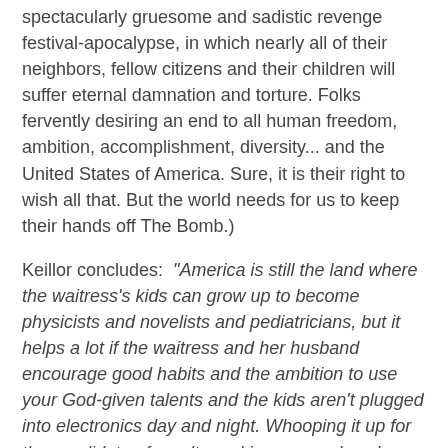spectacularly gruesome and sadistic revenge festival-apocalypse, in which nearly all of their neighbors, fellow citizens and their children will suffer eternal damnation and torture. Folks fervently desiring an end to all human freedom, ambition, accomplishment, diversity... and the United States of America. Sure, it is their right to wish all that. But the world needs for us to keep their hands off The Bomb.)
Keillor concludes:  "America is still the land where the waitress's kids can grow up to become physicists and novelists and pediatricians, but it helps a lot if the waitress and her husband encourage good habits and the ambition to use your God-given talents and the kids aren't plugged into electronics day and night. Whooping it up for the candidate of cruelty and ignorance does less than nothing for your kids."
Oh, but is this anything new? Indeed, one can feel for the rural(ish) trauma that happens every June, when the local High School -- center of all life in most towns -- holds graduation. The teens who are the pride of their community